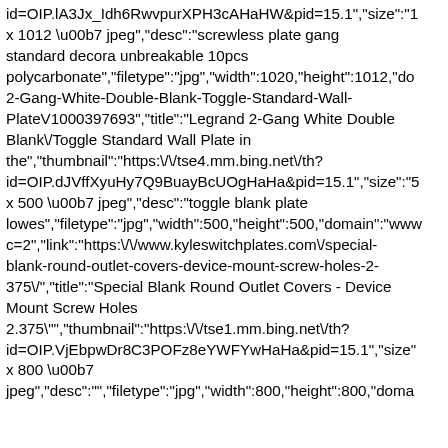id=OIP.lA3Jx_Idh6RwvpurXPH3cAHaHW&pid=15.1","size":"1 x 1012 \u00b7 jpeg","desc":"screwless plate gang standard decora unbreakable 10pcs polycarbonate","filetype":"jpg","width":1020,"height":1012,"do 2-Gang-White-Double-Blank-Toggle-Standard-Wall-PlateV1000397693","title":"Legrand 2-Gang White Double Blank\/Toggle Standard Wall Plate in the","thumbnail":"https:\/\/tse4.mm.bing.net\/th?id=OIP.dJVffXyuHy7Q9BuayBcUOgHaHa&pid=15.1","size":"5 x 500 \u00b7 jpeg","desc":"toggle blank plate lowes","filetype":"jpg","width":500,"height":500,"domain":"www c=2","link":"https:\/\/www.kyleswitchplates.com\/special-blank-round-outlet-covers-device-mount-screw-holes-2-375\/","title":"Special Blank Round Outlet Covers - Device Mount Screw Holes 2.375\"","thumbnail":"https:\/\/tse1.mm.bing.net\/th?id=OIP.VjEbpwDr8C3POFz8eYWFYwHaHa&pid=15.1","size" x 800 \u00b7 jpeg","desc":"","filetype":"jpg","width":800,"height":800,"doma